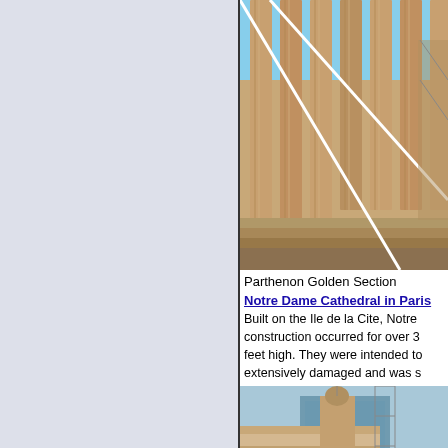[Figure (photo): Photograph of the Parthenon columns with white diagonal lines (scaffolding or overlay), showing ancient Greek architectural columns against a blue sky]
Parthenon Golden Section
Notre Dame Cathedral in Paris
Built on the Ile de la Cite, Notre construction occurred for over 3 feet high. They were intended to extensively damaged and was s
[Figure (photo): Photograph of Notre Dame Cathedral in Paris showing ornate Gothic facade with arched entrance, decorative stonework, and scaffolding visible in the background]